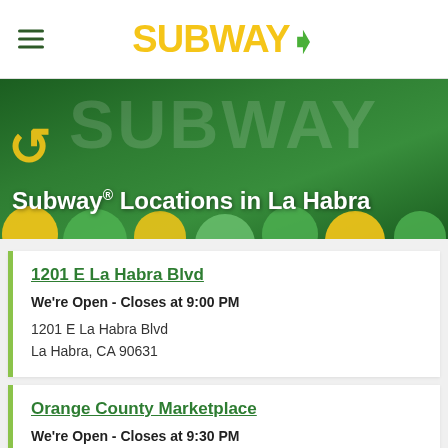SUBWAY
[Figure (photo): Subway restaurant promotional image with balloons and large Subway text in the background]
Subway® Locations in La Habra
1201 E La Habra Blvd
We're Open - Closes at 9:00 PM
1201 E La Habra Blvd
La Habra, CA 90631
Orange County Marketplace
We're Open - Closes at 9:30 PM
1230 Imperial Highway
Suite C